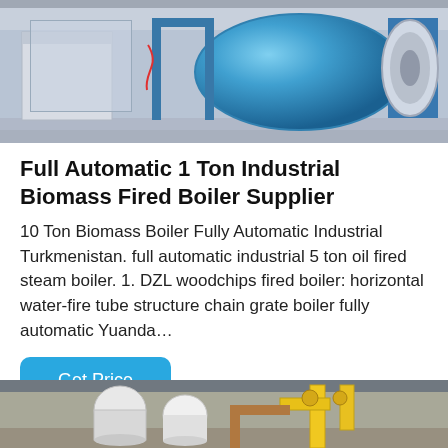[Figure (photo): Industrial biomass fired boiler in a factory setting, large blue cylindrical vessel with blue metal frame structure on a concrete floor]
Full Automatic 1 Ton Industrial Biomass Fired Boiler Supplier
10 Ton Biomass Boiler Fully Automatic Industrial Turkmenistan. full automatic industrial 5 ton oil fired steam boiler. 1. DZL woodchips fired boiler: horizontal water-fire tube structure chain grate boiler fully automatic Yuanda…
Get Price
[Figure (photo): Industrial boiler room with white cylindrical equipment vessels and yellow pipes visible, partially cropped at bottom of page]